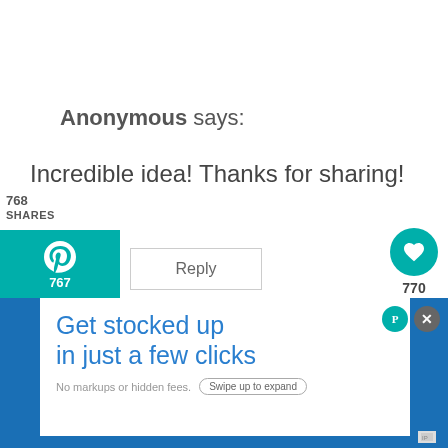Anonymous says:
768
SHARES
Incredible idea! Thanks for sharing!
767
Reply
770
WHAT'S NEXT → Plate Flowers and Wind...
tuula@thriftyrebel.com says:
Get stocked up in just a few clicks
No markups or hidden fees.
Swipe up to expand